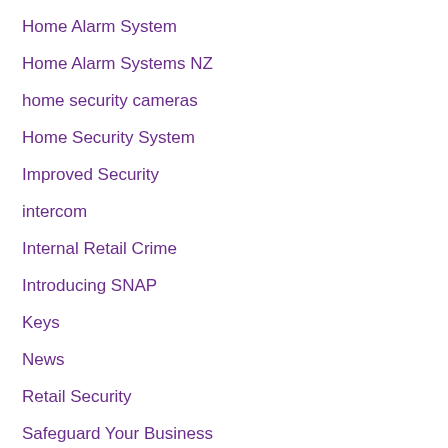Home Alarm System
Home Alarm Systems NZ
home security cameras
Home Security System
Improved Security
intercom
Internal Retail Crime
Introducing SNAP
Keys
News
Retail Security
Safeguard Your Business
Securing your home